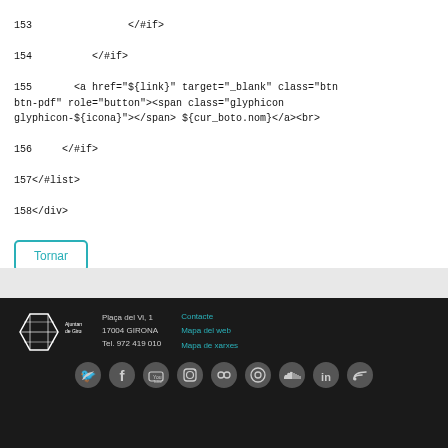153                </#if>
154          </#if>
155       <a href="${link}" target="_blank" class="btn btn-pdf" role="button"><span class="glyphicon glyphicon-${icona}"></span> ${cur_boto.nom}</a><br>
156     </#if>
157</#list>
158</div>
Tornar
Ajuntament de Girona | Plaça del Vi, 1, 17004 GIRONA, Tel. 972 419 010 | Contacte, Mapa del web, Mapa de xarxes